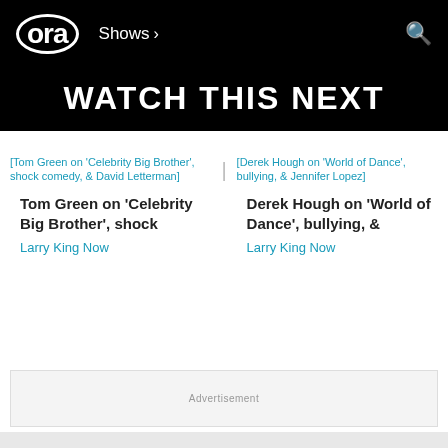ora  Shows  🔍
WATCH THIS NEXT
[Figure (screenshot): Broken image placeholder for Tom Green on 'Celebrity Big Brother', shock comedy, & David Letterman]
Tom Green on 'Celebrity Big Brother', shock
Larry King Now
[Figure (screenshot): Broken image placeholder for Derek Hough on 'World of Dance', bullying, & Jennifer Lopez]
Derek Hough on 'World of Dance', bullying, &
Larry King Now
Advertisement
Larry King Now Show Blog
What Would You Ask Maria Menounos?
Dec 17 '19